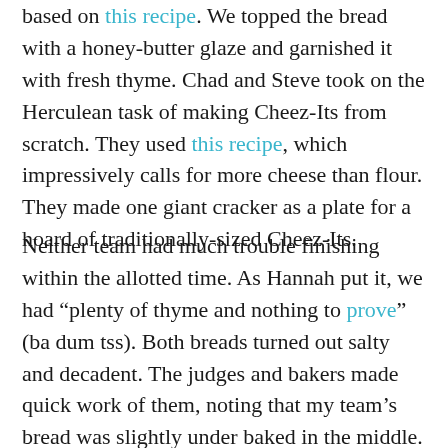based on this recipe. We topped the bread with a honey-butter glaze and garnished it with fresh thyme. Chad and Steve took on the Herculean task of making Cheez-Its from scratch. They used this recipe, which impressively calls for more cheese than flour. They made one giant cracker as a plate for a hoard of traditionally-sized Cheez-Its.
Neither team had much trouble finishing within the allotted time. As Hannah put it, we had "plenty of thyme and nothing to prove" (ba dum tss). Both breads turned out salty and decadent. The judges and bakers made quick work of them, noting that my team's bread was slightly under baked in the middle. The Cheez-Its, thicker and more buttery than the commercial variety, were delightful if labor intensive. On the show, the signature bakes aren't ranked, although they are considered in the final decision on who will be eliminated and who will be crowned star baker for the week.